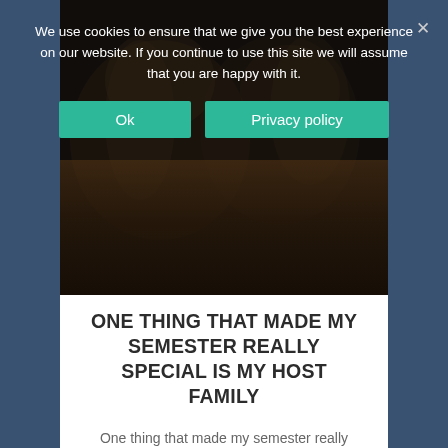[Figure (photo): Dark background photo of smiling people (young women), partially obscured by cookie consent overlay]
We use cookies to ensure that we give you the best experience on our website. If you continue to use this site we will assume that you are happy with it.
Ok
Privacy policy
ONE THING THAT MADE MY SEMESTER REALLY SPECIAL IS MY HOST FAMILY
One thing that made my semester really special is my host family  My name is Lea and I am from Germany from a city called Leverkusen. I am spending one semester abroad in America. I am ...